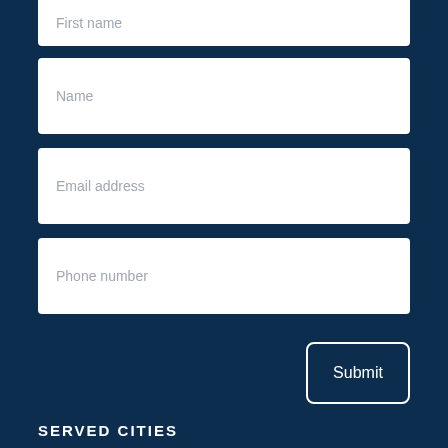First name
Name
Email address
Phone number
Submit
SERVED CITIES